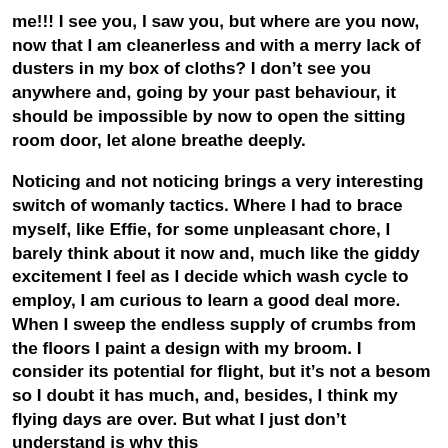me!!! I see you, I saw you, but where are you now, now that I am cleanerless and with a merry lack of dusters in my box of cloths? I don't see you anywhere and, going by your past behaviour, it should be impossible by now to open the sitting room door, let alone breathe deeply.
Noticing and not noticing brings a very interesting switch of womanly tactics. Where I had to brace myself, like Effie, for some unpleasant chore, I barely think about it now and, much like the giddy excitement I feel as I decide which wash cycle to employ, I am curious to learn a good deal more. When I sweep the endless supply of crumbs from the floors I paint a design with my broom. I consider its potential for flight, but it's not a besom so I doubt it has much, and, besides, I think my flying days are over. But what I just don't understand is why this